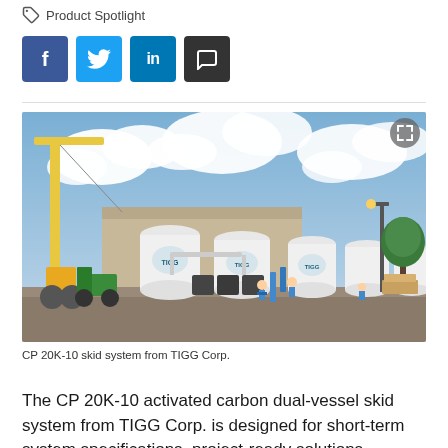Product Spotlight
[Figure (photo): Industrial site showing the CP 20K-10 activated carbon dual-vessel skid system from TIGG Corp. Several large white cylindrical tanks with TIGG logos are visible, along with a yellow crane, a green forklift, workers in hard hats, and a building in the background under a partly cloudy sky.]
CP 20K-10 skid system from TIGG Corp.
The CP 20K-10 activated carbon dual-vessel skid system from TIGG Corp. is designed for short-term system specifications, project-ready solutions,